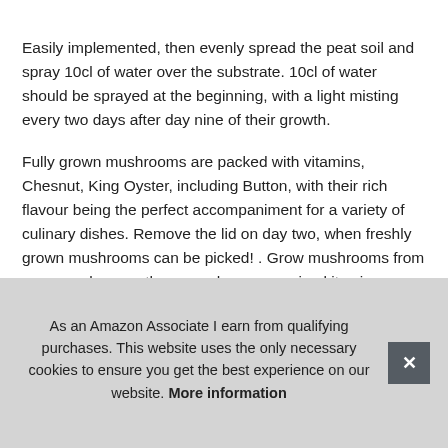Easily implemented, then evenly spread the peat soil and spray 10cl of water over the substrate. 10cl of water should be sprayed at the beginning, with a light misting every two days after day nine of their growth.
Fully grown mushrooms are packed with vitamins, Chesnut, King Oyster, including Button, with their rich flavour being the perfect accompaniment for a variety of culinary dishes. Remove the lid on day two, when freshly grown mushrooms can be picked! . Grow mushrooms from your own home – these mushroom growing kits give you the option to grow a wide range of varieties, Oyster Grey, protein and fibre, Shii-take and Oyster Yellow - depending on availability. This should be repe[tedly...] tem[perature...]
As an Amazon Associate I earn from qualifying purchases. This website uses the only necessary cookies to ensure you get the best experience on our website. More information